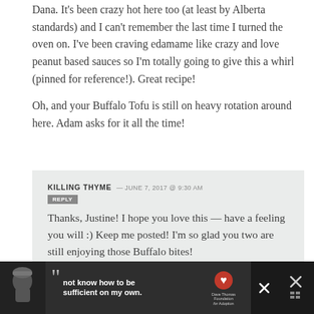Dana. It's been crazy hot here too (at least by Alberta standards) and I can't remember the last time I turned the oven on. I've been craving edamame like crazy and love peanut based sauces so I'm totally going to give this a whirl (pinned for reference!). Great recipe!

Oh, and your Buffalo Tofu is still on heavy rotation around here. Adam asks for it all the time!
KILLING THYME — JUNE 7, 2017 @ 9:30 AM
REPLY
Thanks, Justine! I hope you love this — have a feeling you will :) Keep me posted! I'm so glad you two are still enjoying those Buffalo bites!
[Figure (screenshot): Advertisement banner at bottom: dark background with person wearing beanie hat, large quotation marks, text 'not know how to be sufficient on my own.' Dave Thomas Foundation for Adoption logo, close X button, and another X with grid icon on the right.]